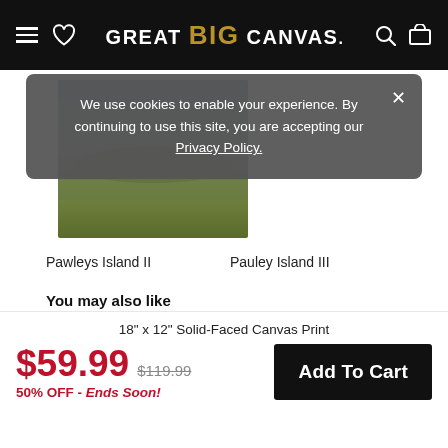GREAT BIG CANVAS.
We use cookies to enable your experience. By continuing to use this site, you are accepting our Privacy Policy.
[Figure (photo): Canvas print thumbnail showing marsh/grassland landscape in muted greens and browns]
Pawleys Island II
Pauley Island III
You may also like
[Figure (photo): Partial canvas print thumbnail showing landscape in dark greens and browns, right edge only]
18" x 12" Solid-Faced Canvas Print
$59.99  $119.99  50% OFF - Ends Soon!
Add To Cart